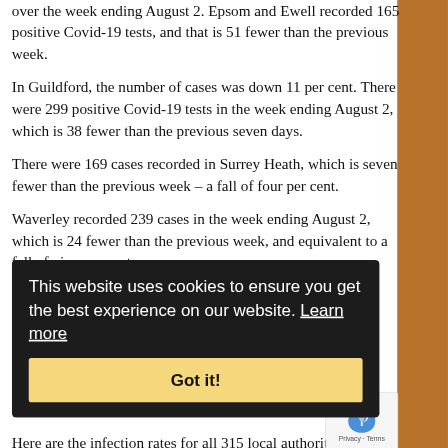over the week ending August 2. Epsom and Ewell recorded 165 positive Covid-19 tests, and that is 51 fewer than the previous week.
In Guildford, the number of cases was down 11 per cent. There were 299 positive Covid-19 tests in the week ending August 2, which is 38 fewer than the previous seven days.
There were 169 cases recorded in Surrey Heath, which is seven fewer than the previous week – a fall of four per cent.
Waverley recorded 239 cases in the week ending August 2, which is 24 fewer than the previous week, and equivalent to a fall of nine per cent.
[Figure (screenshot): Cookie consent banner overlay with dark background reading 'This website uses cookies to ensure you get the best experience on our website. Learn more' and a 'Got it!' button in gold/yellow color]
Here are the infection rates for all 315 local authority areas in